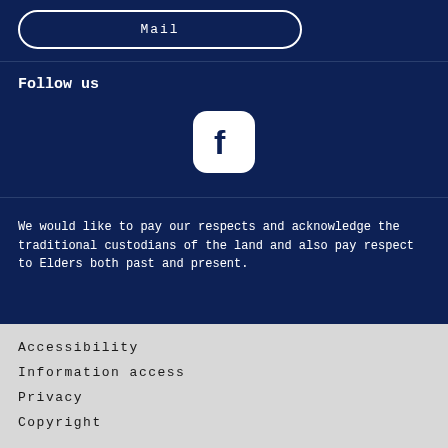Mail
Follow us
[Figure (logo): Facebook logo icon — white 'f' on white rounded square background set on dark navy background]
We would like to pay our respects and acknowledge the traditional custodians of the land and also pay respect to Elders both past and present.
Accessibility
Information access
Privacy
Copyright